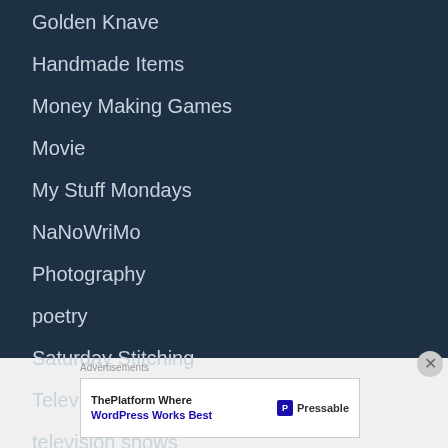Golden Knave
Handmade Items
Money Making Games
Movie
My Stuff Mondays
NaNoWriMo
Photography
poetry
Saturday Stitching
Television Show
television shows
Advertisements
ThePlatform Where WordPress Works Best  Pressable